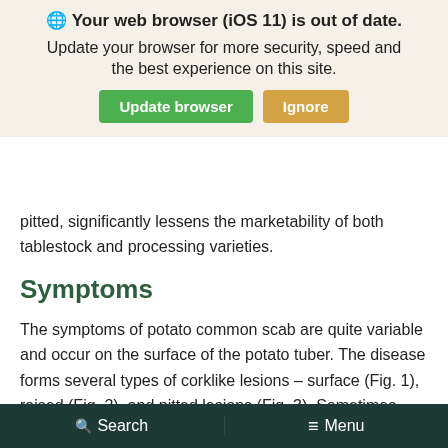[Figure (screenshot): Browser update notification banner overlay for iOS 11 with 'Update browser' (green) and 'Ignore' (yellow/gold) buttons]
pitted, significantly lessens the marketability of both tablestock and processing varieties.
Symptoms
The symptoms of potato common scab are quite variable and occur on the surface of the potato tuber. The disease forms several types of corklike lesions – surface (Fig. 1), raised (Fig. 2), and pitted lesions (Fig. 3). Sometimes surface lesions are also referred to as russeting, particularly on round whites, because the general appearance resembles the skin of a russet-type tuber. Pitted lesions vary in
Search   Menu